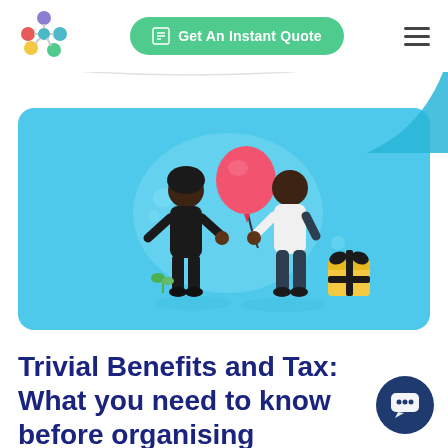[Figure (logo): Colorful flower/cluster logo with pink, red, yellow, green, blue, purple circles]
Get An Instant Quote
[Figure (illustration): Two cartoon figures on a light blue background: a woman in black receiving a red balloon from a man in white, with a yellow gift box nearby]
Trivial Benefits and Tax: What you need to know before organising